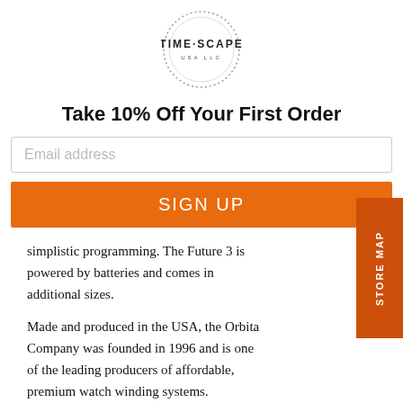[Figure (logo): TIME·SCAPE USA LLC circular logo with dotted border]
Take 10% Off Your First Order
Email address
SIGN UP
simplistic programming.  The Future 3 is powered by batteries and comes in additional sizes.
Made and produced in the USA, the Orbita Company was founded in 1996 and is one of the leading producers of affordable, premium watch winding systems.
STORE MAP